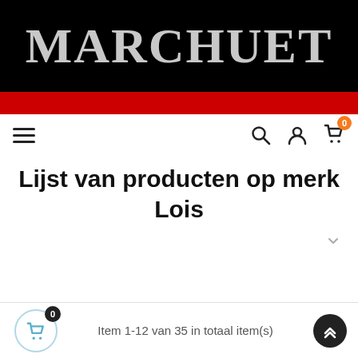[Figure (logo): Marchuet logo: large white serif text on black background with red bar below]
[Figure (screenshot): Navigation bar with hamburger menu, search icon, user icon, and cart icon with badge showing 0]
Lijst van producten op merk Lois
Item 1-12 van 35 in totaal item(s)